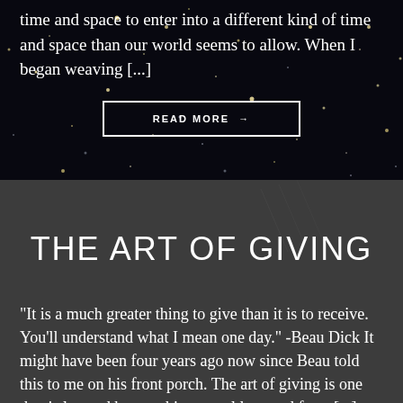time and space to enter into a different kind of time and space than our world seems to allow. When I began weaving [...]
READ MORE →
THE ART OF GIVING
"It is a much greater thing to give than it is to receive. You'll understand what I mean one day." -Beau Dick It might have been four years ago now since Beau told this to me on his front porch. The art of giving is one that is learned by watching our elders, and from [...]